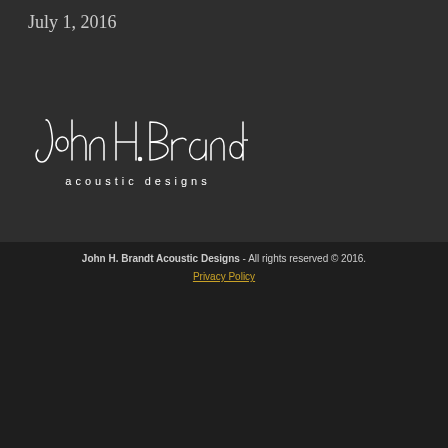July 1, 2016
[Figure (logo): John H. Brandt acoustic designs handwritten signature logo in white on dark background]
John H. Brandt Acoustic Designs - All rights reserved © 2016.
Privacy Policy
Cookies & Privacy
This website uses cookies to ensure you get the best experience on our website.
See privacy policy
Accept   Customise